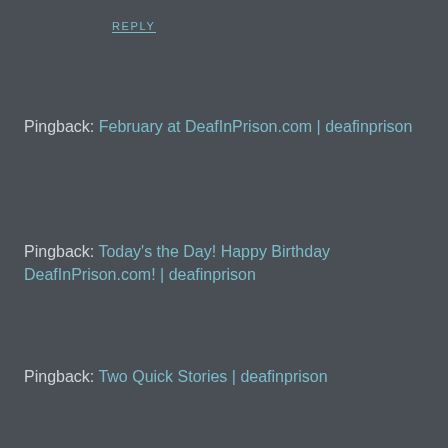REPLY
Pingback: February at DeafInPrison.com | deafinprison
Pingback: Today's the Day! Happy Birthday DeafInPrison.com! | deafinprison
Pingback: Two Quick Stories | deafinprison